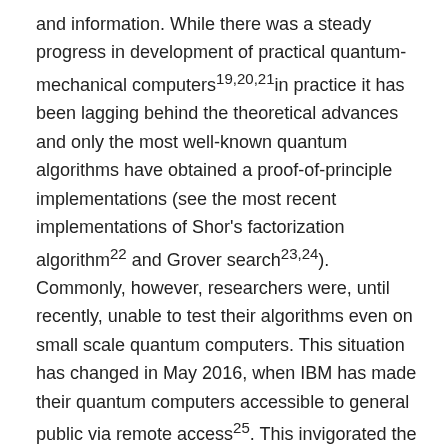and information. While there was a steady progress in development of practical quantum-mechanical computers19,20,21in practice it has been lagging behind the theoretical advances and only the most well-known quantum algorithms have obtained a proof-of-principle implementations (see the most recent implementations of Shor's factorization algorithm22 and Grover search23,24). Commonly, however, researchers were, until recently, unable to test their algorithms even on small scale quantum computers. This situation has changed in May 2016, when IBM has made their quantum computers accessible to general public via remote access25. This invigorated the field of quantum computation and since then multiple experiments have been conducted on IBM systems and reported on in literature26,27,28,29,30,31,32,33,34,35,36,37,38,39,40. What is more, this inspired a new wave of research, designing algorithms that can take advantage of noisy small scale quantum